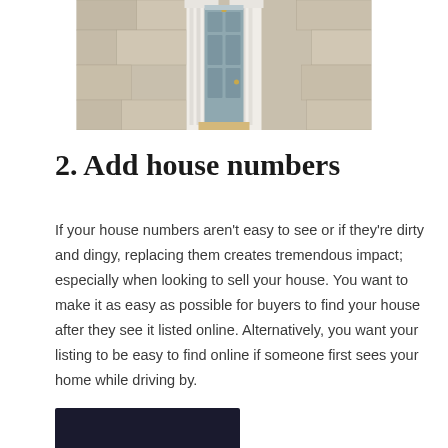[Figure (photo): Photo of a blue-grey front door with white pillar columns and stone facade, viewed from exterior]
2. Add house numbers
If your house numbers aren't easy to see or if they're dirty and dingy, replacing them creates tremendous impact; especially when looking to sell your house. You want to make it as easy as possible for buyers to find your house after they see it listed online. Alternatively, you want your listing to be easy to find online if someone first sees your home while driving by.
[Figure (photo): Partial photo of house numbers or exterior, dark background, cropped at bottom of page]